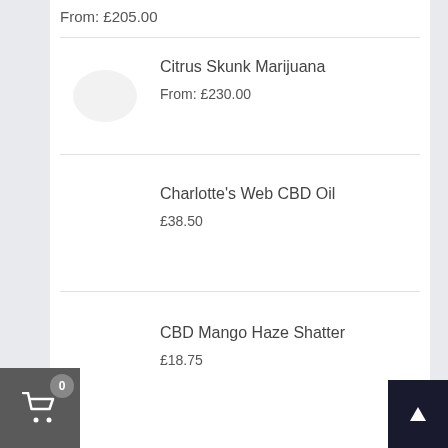From: £205.00
Citrus Skunk Marijuana
From: £230.00
Charlotte’s Web CBD Oil
£38.50
CBD Mango Haze Shatter
£18.75